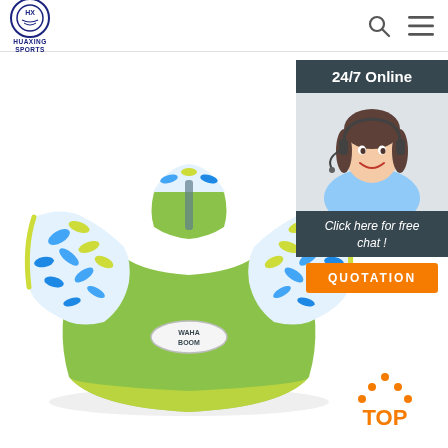HUAXING SPORTS
[Figure (photo): Green children's swim vest/floatation jacket with floral patterned sleeves (blue and yellow leaf print), WahaBoom brand logo on front]
[Figure (photo): Customer service representative woman with headset smiling, beside '24/7 Online' banner and 'Click here for free chat!' prompt with QUOTATION button]
[Figure (illustration): TOP button with orange upward arrow icon]